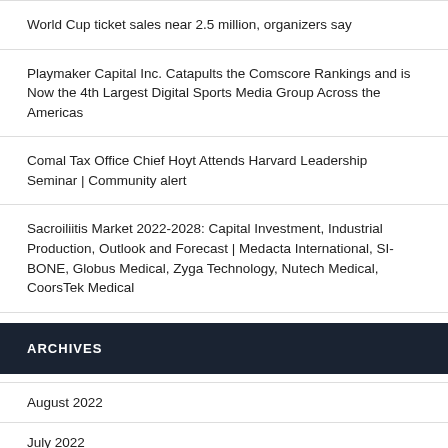World Cup ticket sales near 2.5 million, organizers say
Playmaker Capital Inc. Catapults the Comscore Rankings and is Now the 4th Largest Digital Sports Media Group Across the Americas
Comal Tax Office Chief Hoyt Attends Harvard Leadership Seminar | Community alert
Sacroiliitis Market 2022-2028: Capital Investment, Industrial Production, Outlook and Forecast | Medacta International, SI-BONE, Globus Medical, Zyga Technology, Nutech Medical, CoorsTek Medical
ARCHIVES
August 2022
July 2022
June 2022